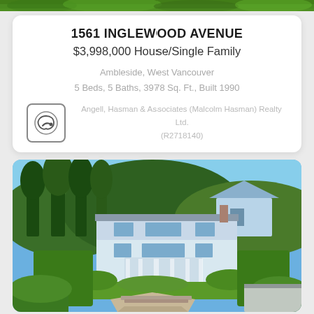[Figure (photo): Aerial/top strip of greenery from a property photo at top of page]
1561 INGLEWOOD AVENUE
$3,998,000 House/Single Family
Ambleside, West Vancouver
5 Beds, 5 Baths, 3978 Sq. Ft., Built 1990
Angell, Hasman & Associates (Malcolm Hasman) Realty Ltd.
(R2718140)
[Figure (photo): Aerial drone photo of a large single-family home at 1561 Inglewood Avenue in Ambleside, West Vancouver, surrounded by tall trees and lush greenery, with neighboring houses visible]